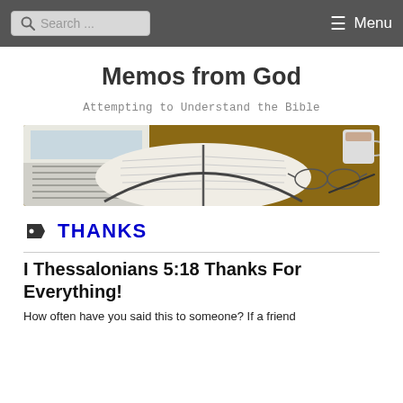Search ... Menu
Memos from God
Attempting to Understand the Bible
[Figure (photo): Open Bible on a wooden desk with a laptop keyboard on the left, glasses and a pen on the right, and a coffee mug in the background]
THANKS
I Thessalonians 5:18 Thanks For Everything!
How often have you said this to someone? If a friend